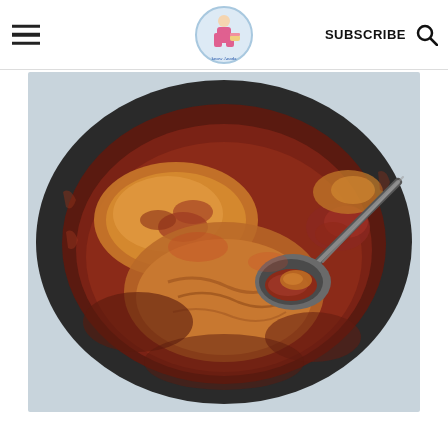Navigation header with hamburger menu, logo (Know Anada), SUBSCRIBE button, and search icon
[Figure (photo): Overhead view of a slow cooker/crock pot containing braised or stewed chicken pieces in a rich reddish-brown tomato-based sauce, with a large metal serving spoon scooping up a portion of the meat and sauce. The black oval crock pot interior is visible with sauce residue on the sides.]